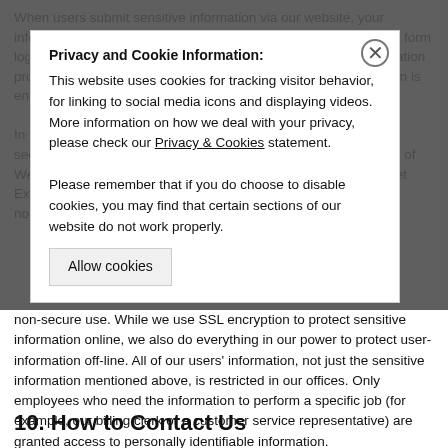When users submit sensitive information via our website, your information is protected both on-line and off-line. When our order form logs you into our server your information is protected and information provided by us at during your session is encrypted and your log-in is encrypted. You may purchase our country-SSL...
Privacy and Cookie Information:
This website uses cookies for tracking visitor behavior, for linking to social media icons and displaying videos. More information on how we deal with your privacy, please check our Privacy & Cookies statement.
Please remember that if you do choose to disable cookies, you may find that certain sections of our website do not work properly.
In the event that certain sections of our website do not work on a secure page, such as our order form, the lock icon on the bottom of Web browsers such as Netscape Navigator and Microsoft Internet Explorer becomes locked, as opposed to un-locked, or open, in normal non-secure use. While we use SSL encryption to protect sensitive information online, we also do everything in our power to protect user-information off-line. All of our users' information, not just the sensitive information mentioned above, is restricted in our offices. Only employees who need the information to perform a specific job (for example, our billing clerk or a customer service representative) are granted access to personally identifiable information.
10. How to Contact Us